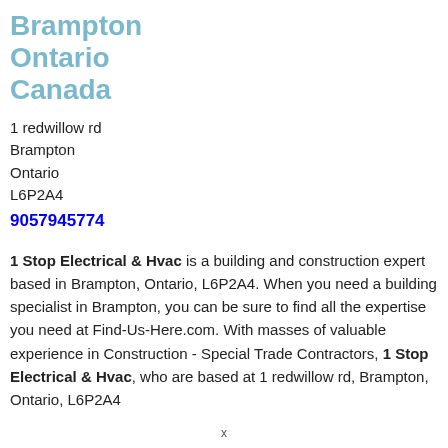Brampton Ontario Canada
1 redwillow rd
Brampton
Ontario
L6P2A4
9057945774
1 Stop Electrical & Hvac is a building and construction expert based in Brampton, Ontario, L6P2A4. When you need a building specialist in Brampton, you can be sure to find all the expertise you need at Find-Us-Here.com. With masses of valuable experience in Construction - Special Trade Contractors, 1 Stop Electrical & Hvac, who are based at 1 redwillow rd, Brampton, Ontario, L6P2A4
x